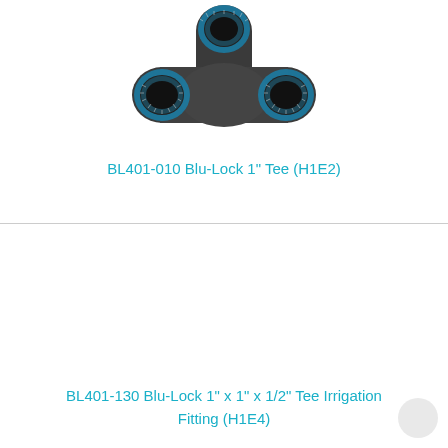[Figure (photo): Dark gray T-shaped pipe fitting (tee connector) with three openings ringed in blue, viewed from above at an angle. The fitting appears to be a push-connect type with blue locking rings and metal teeth visible inside each opening.]
BL401-010 Blu-Lock 1" Tee (H1E2)
[Figure (photo): Empty product image area for BL401-130 Blu-Lock irrigation tee fitting (image not visible in the cropped view).]
BL401-130 Blu-Lock 1" x 1" x 1/2" Tee Irrigation Fitting (H1E4)